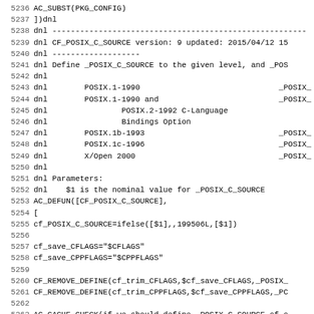Source code / configuration file listing lines 5236-5267